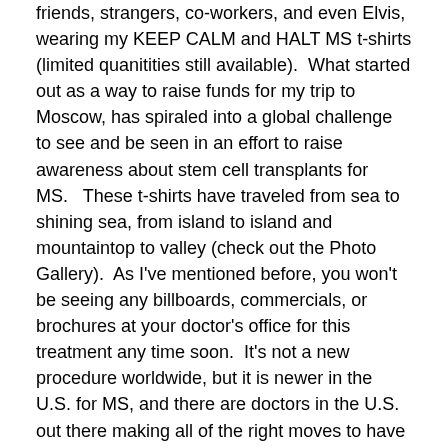friends, strangers, co-workers, and even Elvis, wearing my KEEP CALM and HALT MS t-shirts (limited quanitities still available).  What started out as a way to raise funds for my trip to Moscow, has spiraled into a global challenge to see and be seen in an effort to raise awareness about stem cell transplants for MS.   These t-shirts have traveled from sea to shining sea, from island to island and mountaintop to valley (check out the Photo Gallery).  As I've mentioned before, you won't be seeing any billboards, commercials, or brochures at your doctor's office for this treatment any time soon.  It's not a new procedure worldwide, but it is newer in the U.S. for MS, and there are doctors in the U.S. out there making all of the right moves to have it FDA-approved.  It will happen…in about 10 years.  With a little help from all of you, maybe it could be sooner.